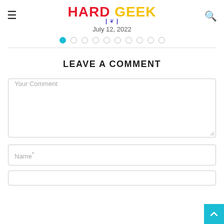HARD GEEK — July 12, 2022
[Figure (other): Pagination dots row with first dot active (cyan) and nine remaining empty circles]
LEAVE A COMMENT
Your Comment
Name*